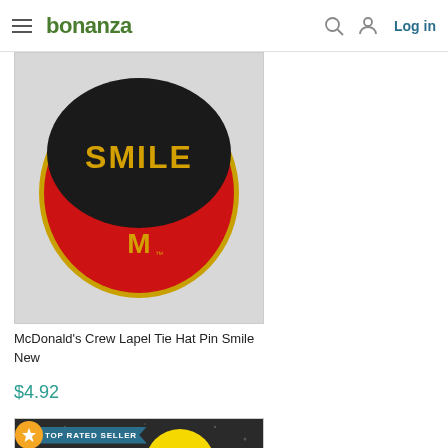bonanza — Log in
[Figure (photo): McDonald's Crew Lapel Tie Hat Pin Smile — circular enamel pin with red border, black background, gold 'SMILE' text, and McDonald's golden arches logo]
McDonald's Crew Lapel Tie Hat Pin Smile New
$4.92
[Figure (photo): TOP RATED SELLER badge overlaid on McDonald's 'Made for You' button pin on dark sparkly background — yellow circular pin with golden arches and 'Made for You' text]